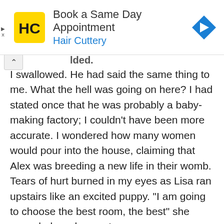[Figure (other): Advertisement banner for Hair Cuttery with yellow HC logo, navigation arrow icon, text 'Book a Same Day Appointment' and 'Hair Cuttery']
I swallowed. He had said the same thing to me. What the hell was going on here? I had stated once that he was probably a baby-making factory; I couldn't have been more accurate. I wondered how many women would pour into the house, claiming that Alex was breeding a new life in their womb. Tears of hurt burned in my eyes as Lisa ran upstairs like an excited puppy. “I am going to choose the best room, the best” she squealed as she went.
I faced Alex who did not even spare me a glance. He dismissed me like I was not even